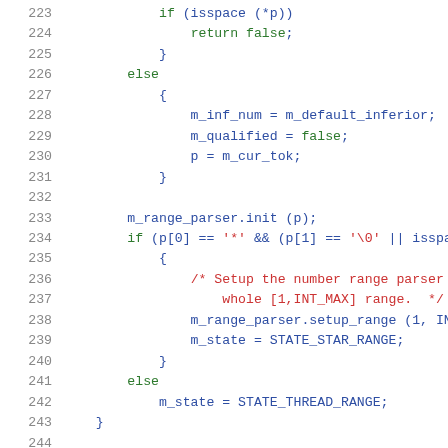Source code lines 223-244 showing C++ parser logic with if/else blocks, m_range_parser initialization, and state assignments